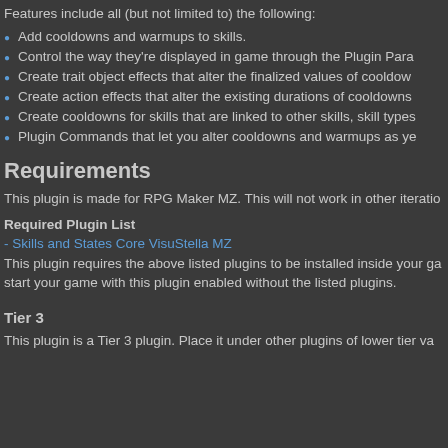Features include all (but not limited to) the following:
Add cooldowns and warmups to skills.
Control the way they're displayed in game through the Plugin Para...
Create trait object effects that alter the finalized values of cooldown...
Create action effects that alter the existing durations of cooldowns...
Create cooldowns for skills that are linked to other skills, skill types...
Plugin Commands that let you alter cooldowns and warmups as ye...
Requirements
This plugin is made for RPG Maker MZ. This will not work in other iteratio...
Required Plugin List
- Skills and States Core VisuStella MZ
This plugin requires the above listed plugins to be installed inside your ga... start your game with this plugin enabled without the listed plugins.
Tier 3
This plugin is a Tier 3 plugin. Place it under other plugins of lower tier va...